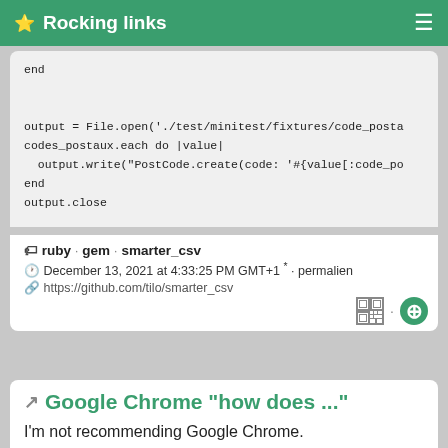⭐ Rocking links
end

output = File.open('./test/minitest/fixtures/code_posta
codes_postaux.each do |value|
  output.write("PostCode.create(code: '#{value[:code_po
end
output.close
ruby · gem · smarter_csv
December 13, 2021 at 4:33:25 PM GMT+1 * · permalien
https://github.com/tilo/smarter_csv
Google Chrome "how does ..."
I'm not recommending Google Chrome.
This "comic" though is an interesting presentation.
chrome · chromium · comic
December 11, 2021 at 4:10:45 PM GMT+1 * · permalien
https://www.google.com/googlebooks/chrome/big_00.html